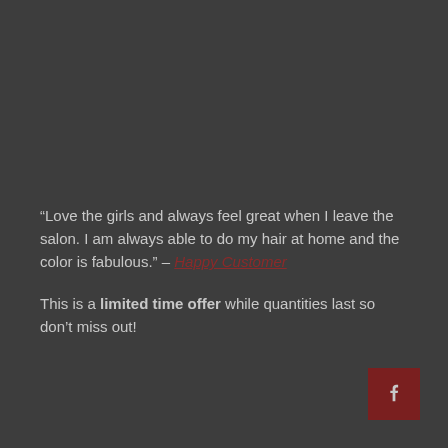“Love the girls and always feel great when I leave the salon. I am always able to do my hair at home and the color is fabulous.” – Happy Customer
This is a limited time offer while quantities last so don’t miss out!
[Figure (logo): Dark red square button with a white letter T (Facebook-style share button)]